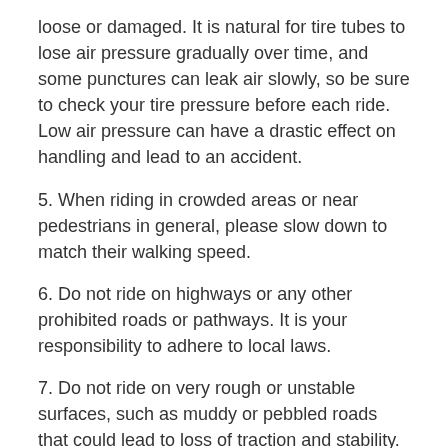loose or damaged. It is natural for tire tubes to lose air pressure gradually over time, and some punctures can leak air slowly, so be sure to check your tire pressure before each ride. Low air pressure can have a drastic effect on handling and lead to an accident.
5. When riding in crowded areas or near pedestrians in general, please slow down to match their walking speed.
6. Do not ride on highways or any other prohibited roads or pathways. It is your responsibility to adhere to local laws.
7. Do not ride on very rough or unstable surfaces, such as muddy or pebbled roads that could lead to loss of traction and stability.
8. Do not ride on slippery surfaces, especially icy/snowy roads. Extreme ambient temperatures outside of the designed vehicle operating temps can lead to failure or damage to components.
9. We do not recommend anyone under the age of 12 to ride the electric unicycle.